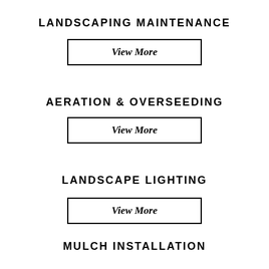LANDSCAPING MAINTENANCE
View More
AERATION & OVERSEEDING
View More
LANDSCAPE LIGHTING
View More
MULCH INSTALLATION